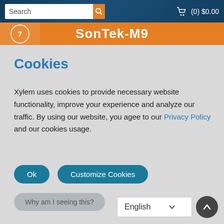[Figure (screenshot): Website header with search bar, cart icon showing (0) $0.00, and orange banner with SonTek-M9 logo/text]
Cookies
Xylem uses cookies to provide necessary website functionality, improve your experience and analyze our traffic. By using our website, you agee to our Privacy Policy and our cookies usage.
Ok
Customize Cookies
Why am I seeing this?
English